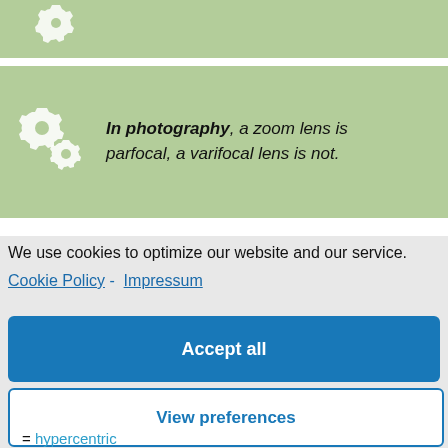[Figure (illustration): Green bar with white gear icons at top (partially visible)]
In photography, a zoom lens is parfocal, a varifocal lens is not.
[Figure (illustration): Green bar with white gear icons (second callout box)]
We use cookies to optimize our website and our service.
Cookie Policy - Impressum
Accept all
Functional only
View preferences
= hypercentric